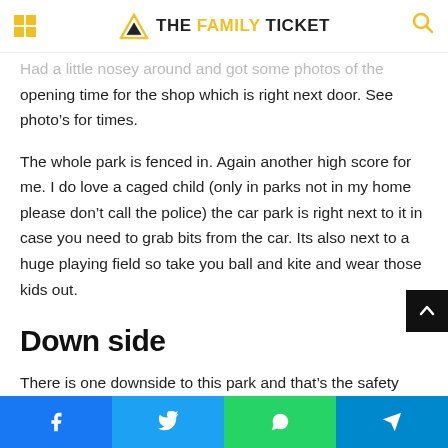THE FAMILY TICKET
Had a little nosey around and got some photos of the opening time for the shop which is right next door. See photo's for times.
The whole park is fenced in. Again another high score for me. I do love a caged child (only in parks not in my home please don't call the police) the car park is right next to it in case you need to grab bits from the car. Its also next to a huge playing field so take you ball and kite and wear those kids out.
Down side
There is one downside to this park and that's the safety flooring. It has been winter so i guess the upkeep isn't a big priority as when the warmer months arrive, However if you
Facebook Twitter WhatsApp Telegram